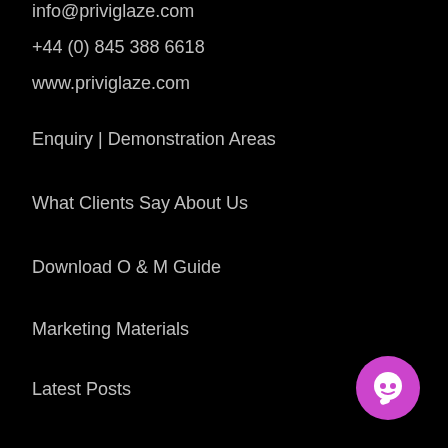info@priviglaze.com
+44 (0) 845 388 6618
www.priviglaze.com
Enquiry | Demonstration Areas
What Clients Say About Us
Download O & M Guide
Marketing Materials
Latest Posts
[Figure (illustration): Purple circular chat button icon with white speech bubble in lower right corner]